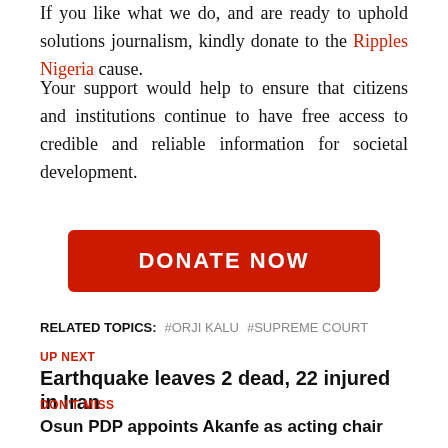If you like what we do, and are ready to uphold solutions journalism, kindly donate to the Ripples Nigeria cause.
Your support would help to ensure that citizens and institutions continue to have free access to credible and reliable information for societal development.
[Figure (other): Red donate now button]
RELATED TOPICS: #ORJI KALU #SUPREME COURT
UP NEXT
Earthquake leaves 2 dead, 22 injured in Iran
DON'T MISS
Osun PDP appoints Akanfe as acting chair
YOU MAY LIKE